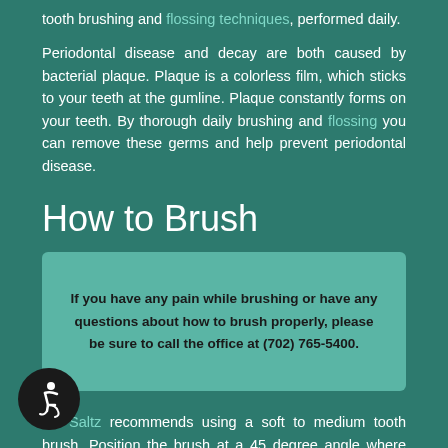tooth brushing and flossing techniques, performed daily.
Periodontal disease and decay are both caused by bacterial plaque. Plaque is a colorless film, which sticks to your teeth at the gumline. Plaque constantly forms on your teeth. By thorough daily brushing and flossing you can remove these germs and help prevent periodontal disease.
How to Brush
If you have any pain while brushing or have any questions about how to brush properly, please be sure to call the office at (702) 765-5400.
Dr. Saltz recommends using a soft to medium tooth brush. Position the brush at a 45 degree angle where gums and teeth meet. Gently move the brush in a circular motion several times using small, gentle strokes brushing the outside surfaces of your teeth. Use light